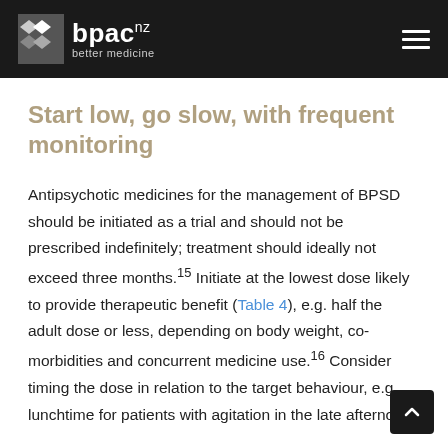bpac nz better medicine
Start low, go slow, with frequent monitoring
Antipsychotic medicines for the management of BPSD should be initiated as a trial and should not be prescribed indefinitely; treatment should ideally not exceed three months.15 Initiate at the lowest dose likely to provide therapeutic benefit (Table 4), e.g. half the adult dose or less, depending on body weight, co-morbidities and concurrent medicine use.16 Consider timing the dose in relation to the target behaviour, e.g. lunchtime for patients with agitation in the late afternoon.